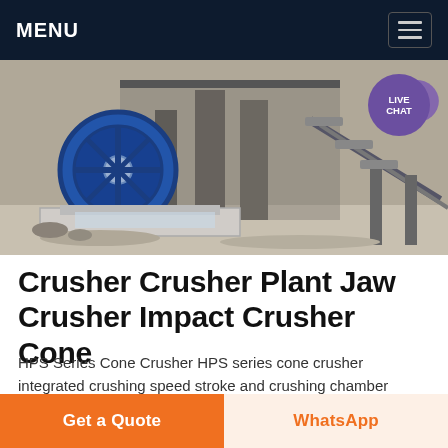MENU
[Figure (photo): Industrial crusher machinery plant with a large blue flywheel, concrete supports, and conveyor belt equipment outdoors.]
Crusher Crusher Plant Jaw Crusher Impact Crusher Cone
HPS Series Cone Crusher HPS series cone crusher integrated crushing speed stroke and crushing chamber ideally not only improving the capacity and quality but also
Get a Quote | WhatsApp